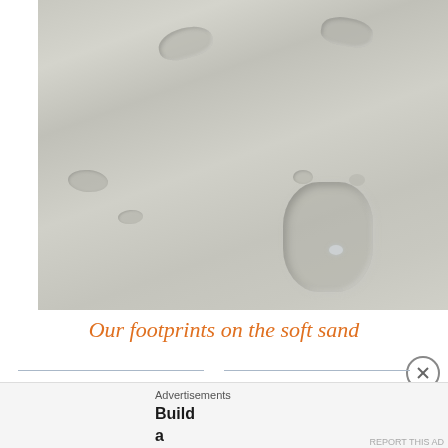[Figure (photo): Close-up photograph of light grey sandy beach surface showing footprints pressed into the soft wet sand. Visible impressions include footprints in the upper-left, upper-right, middle-left, and a larger prominent footprint in the lower-right with a wet/shiny appearance.]
Our footprints on the soft sand
Advertisements
Build a writing habit. Post on the go.
GET THE APP